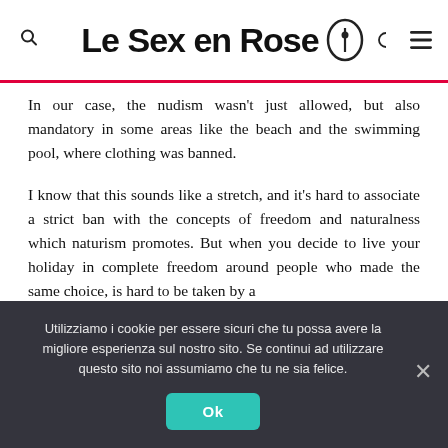Le Sex en Rose [logo icon]
In our case, the nudism wasn't just allowed, but also mandatory in some areas like the beach and the swimming pool, where clothing was banned.
I know that this sounds like a stretch, and it's hard to associate a strict ban with the concepts of freedom and naturalness which naturism promotes. But when you decide to live your holiday in complete freedom around people who made the same choice, is hard to be taken by a
Utilizziamo i cookie per essere sicuri che tu possa avere la migliore esperienza sul nostro sito. Se continui ad utilizzare questo sito noi assumiamo che tu ne sia felice.
Ok